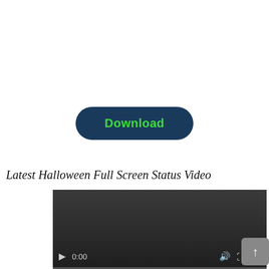[Figure (other): Download button — dark blue rounded pill shape with bold green text 'Download']
Latest Halloween Full Screen Status Video
[Figure (screenshot): Video player showing a dark/black video at 0:00 with play, volume, fullscreen, and more options controls at the bottom]